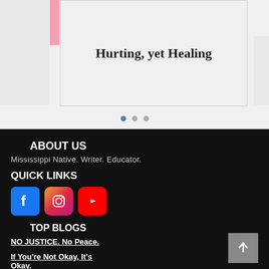[Figure (screenshot): Card with title 'Hurting, yet Healing' on a light gray background, with a pink accent bar on the left side]
Hurting, yet Healing
ABOUT US
Mississippi Native. Writer. Educator.
QUICK LINKS
[Figure (logo): Facebook, Instagram, and YouTube social media icons]
TOP BLOGS
NO JUSTICE. No Peace.
If You're Not Okay, It's Okay.